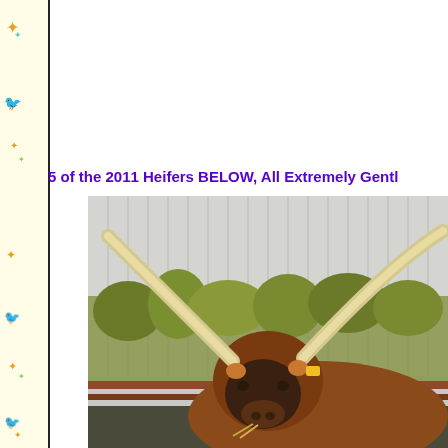5 of the 2011 Heifers BELOW, All Extremely Gentl
[Figure (photo): Close-up photograph of a Texas Longhorn heifer with extremely wide horns, brown coat, yellow ear tag, standing in front of a metal barn wall with vegetation visible behind a fence.]